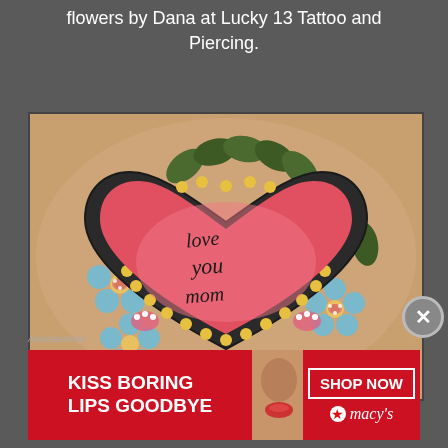flowers by Dana at Lucky 13 Tattoo and Piercing.
[Figure (photo): Close-up photograph of a tattoo showing a red heart with 'love you mom' written in cursive inside, surrounded by blue flowers and green leaves, with a yellow dotted border around the heart. Tattoo is on skin.]
[Figure (photo): Advertisement banner for Macy's: 'KISS BORING LIPS GOODBYE' with a woman's face showing red lips, and a 'SHOP NOW' button with the Macy's star logo.]